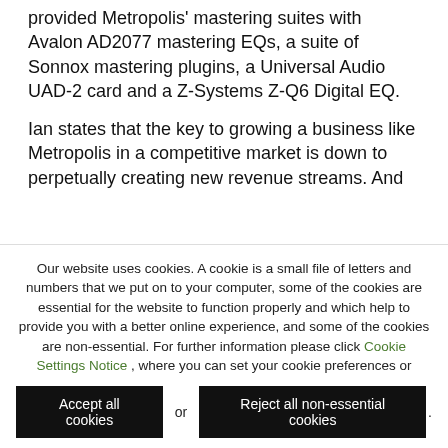provided Metropolis' mastering suites with Avalon AD2077 mastering EQs, a suite of Sonnox mastering plugins, a Universal Audio UAD-2 card and a Z-Systems Z-Q6 Digital EQ.
Ian states that the key to growing a business like Metropolis in a competitive market is down to perpetually creating new revenue streams. And with two large recordings studios, four mixing rooms, five mastering rooms and creative and production facilities that offer everything from
Our website uses cookies. A cookie is a small file of letters and numbers that we put on to your computer, some of the cookies are essential for the website to function properly and which help to provide you with a better online experience, and some of the cookies are non-essential. For further information please click Cookie Settings Notice , where you can set your cookie preferences or
Accept all cookies or Reject all non-essential cookies .